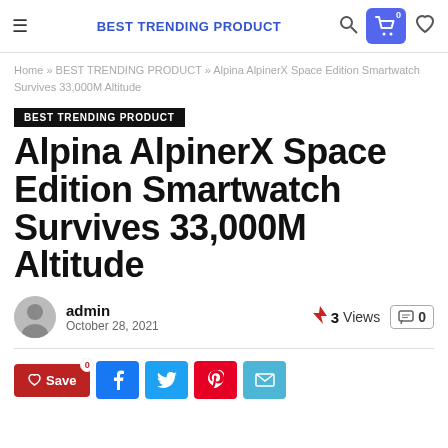BEST TRENDING PRODUCT
Home » BEST TRENDING PRODUCT » Alpina AlpinerX Space Edition Smartwatch Survives 33,000M Altitude
BEST TRENDING PRODUCT
Alpina AlpinerX Space Edition Smartwatch Survives 33,000M Altitude
admin
October 28, 2021
3 Views
0
Save  0  (Facebook)  (Twitter)  (Pinterest)  (Email)